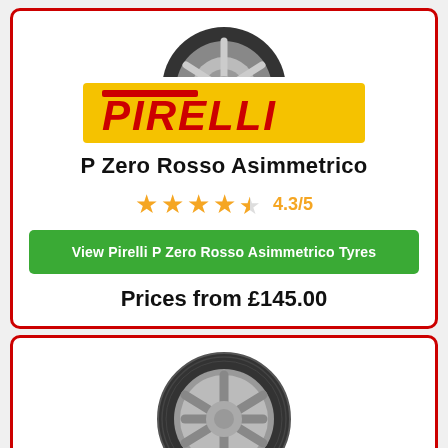[Figure (illustration): Partial tyre image clipped at top of first card (Pirelli P Zero Rosso Asimmetrico tyre, top portion visible)]
[Figure (logo): Pirelli logo — yellow background rectangle with red italic PIRELLI text]
P Zero Rosso Asimmetrico
4.3/5 (4 full stars and 1 partial star rating in orange)
View Pirelli P Zero Rosso Asimmetrico Tyres
Prices from £145.00
[Figure (illustration): Pirelli tyre image in second card — full tyre visible with silver alloy wheel detail, grey background tread]